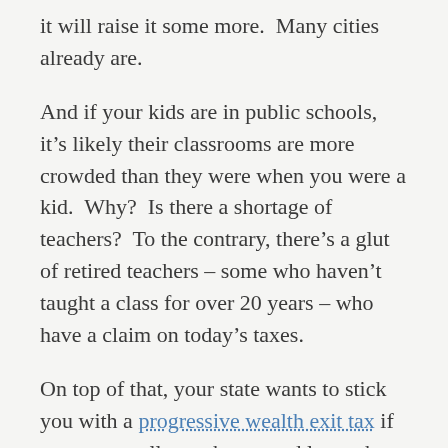it will raise it some more.  Many cities already are.
And if your kids are in public schools, it’s likely their classrooms are more crowded than they were when you were a kid.  Why?  Is there a shortage of teachers?  To the contrary, there’s a glut of retired teachers – some who haven’t taught a class for over 20 years – who have a claim on today’s taxes.
On top of that, your state wants to stick you with a progressive wealth exit tax if you try to sell your house and leave the state.  After a lifetime of paying down your mortgage you can no longer flee to a tax friendlier state without being taken to the cleaners.  Remember, you no longer own your property.  Your local and state government owns your property.
So, too, under a fiat money system, you don’t own